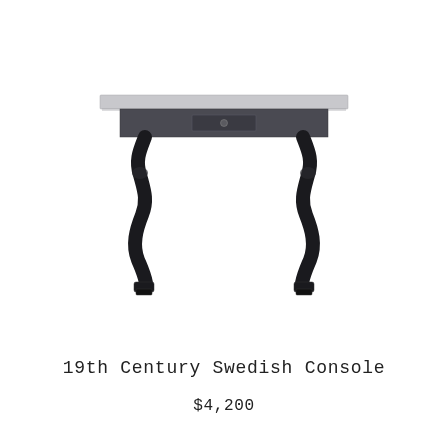[Figure (photo): A 19th century Swedish console table with a grey/silver rectangular top, a dark apron with a single small drawer with a round knob, and two dark carved cabriole legs with decorative feet on each visible side.]
19th Century Swedish Console
$4,200